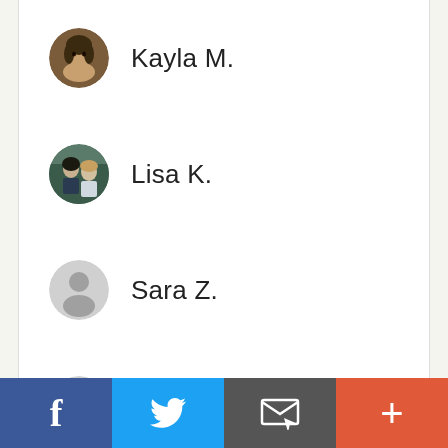Kayla M.
Lisa K.
Sara Z.
Wendy H.
[Figure (other): Bottom navigation toolbar with Facebook (blue), Twitter (light blue), Email (dark gray), and More/Plus (orange-red) buttons]